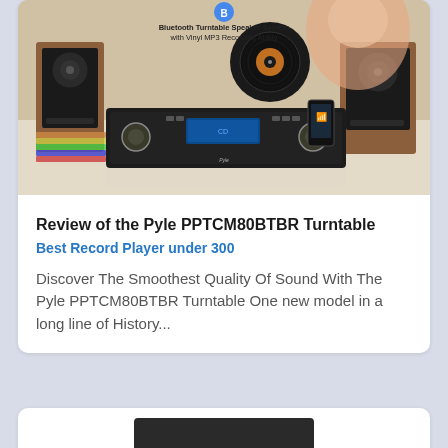[Figure (photo): Product photo of the Pyle PPTCM80BTBR Bluetooth Turntable Speaker System with Vinyl MP3 Recording Ability. Shows the stereo system unit with two wooden bookshelf speakers, a woman holding a vinyl record, stacked colorful records, and a smartphone. Text overlay reads 'Bluetooth Turntable Speaker System with Vinyl MP3 Recording Ability'.]
Review of the Pyle PPTCM80BTBR Turntable
Best Record Player under 300
Discover The Smoothest Quality Of Sound With The Pyle PPTCM80BTBR Turntable One new model in a long line of History...
[Figure (photo): Partial view of a dark/black audio device at the bottom of the page, partially cropped.]